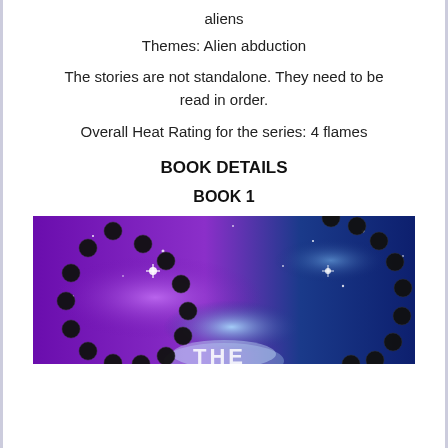aliens
Themes: Alien abduction
The stories are not standalone. They need to be read in order.
Overall Heat Rating for the series: 4 flames
BOOK DETAILS
BOOK 1
[Figure (illustration): Book cover showing black bead chains/DNA strands against a purple and blue cosmic space background with the word THE partially visible at the bottom]